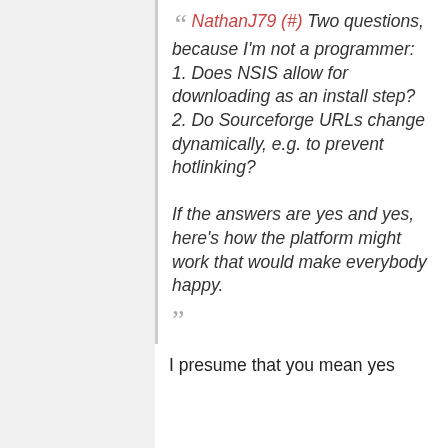NathanJ79 (#) Two questions, because I'm not a programmer: 1. Does NSIS allow for downloading as an install step? 2. Do Sourceforge URLs change dynamically, e.g. to prevent hotlinking? If the answers are yes and yes, here's how the platform might work that would make everybody happy.
I presume that you mean yes and yes. The...